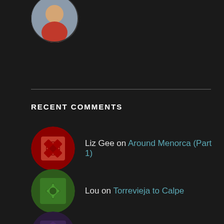[Figure (photo): Circular profile photo of a person partially visible at the top of the page]
RECENT COMMENTS
Liz Gee on Around Menorca (Part 1)
Lou on Torrevieja to Calpe
Ian Graham on Back in Gibraltar
Allan Dunne on Our Wedding, The Rock Hotel